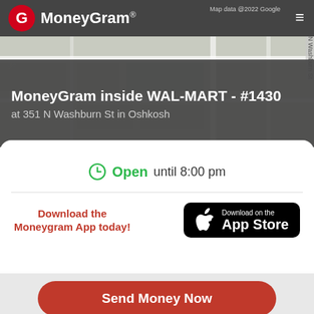[Figure (screenshot): MoneyGram app screenshot showing store locator with map background, MoneyGram logo, location info, open hours, App Store download button, and action buttons]
MoneyGram inside WAL-MART - #1430
at 351 N Washburn St in Oshkosh
Open until 8:00 pm
Download the Moneygram App today!
Download on the App Store
Send Money Now
Receive Money